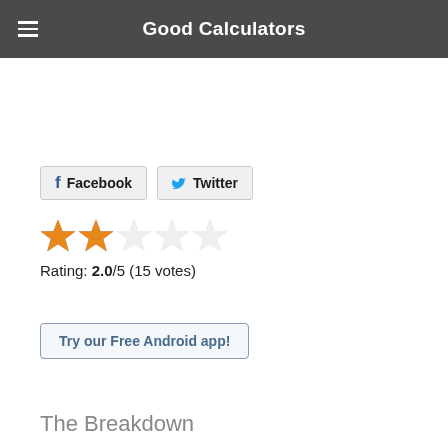Good Calculators
[Figure (other): Facebook and Twitter share buttons]
[Figure (other): Star rating display: 2 filled stars, 3 empty stars]
Rating: 2.0/5 (15 votes)
Try our Free Android app!
The Breakdown